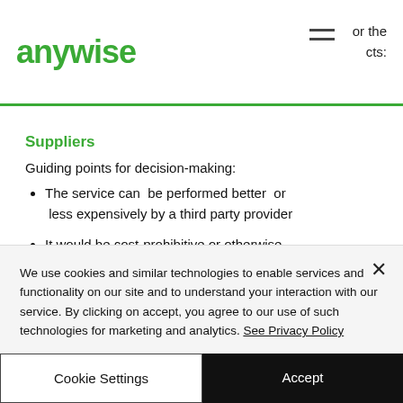anywise
Suppliers
Guiding points for decision-making:
The service can be performed better or less expensively by a third party provider
It would be cost-prohibitive or otherwise unreasonable to perform this service in-
We use cookies and similar technologies to enable services and functionality on our site and to understand your interaction with our service. By clicking on accept, you agree to our use of such technologies for marketing and analytics. See Privacy Policy